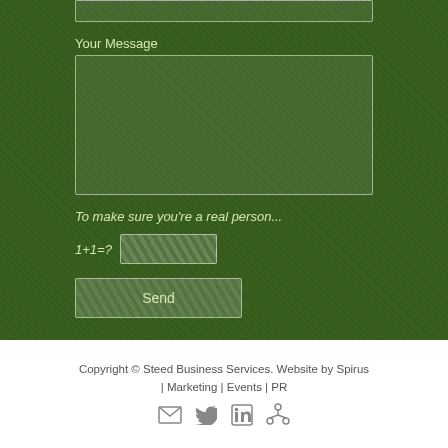Your Message
To make sure you're a real person...
1+1=?
Send
Copyright © Steed Business Services. Website by Spirus | Marketing | Events | PR